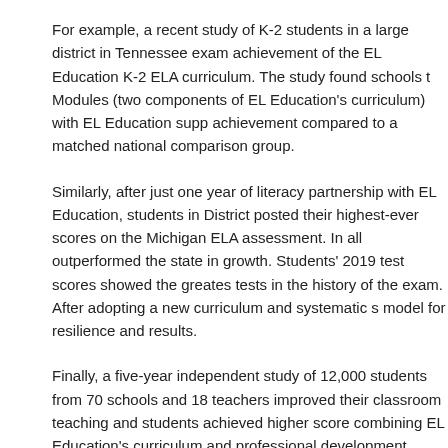For example, a recent study of K-2 students in a large district in Tennessee exam achievement of the EL Education K-2 ELA curriculum. The study found schools t Modules (two components of EL Education's curriculum) with EL Education supp achievement compared to a matched national comparison group.
Similarly, after just one year of literacy partnership with EL Education, students in District posted their highest-ever scores on the Michigan ELA assessment. In all outperformed the state in growth. Students' 2019 test scores showed the greates tests in the history of the exam. After adopting a new curriculum and systematic s model for resilience and results.
Finally, a five-year independent study of 12,000 students from 70 schools and 18 teachers improved their classroom teaching and students achieved higher score combining EL Education's curriculum and professional development. Economica 71% of students were economically disadvantaged.
On January 30, EL Education Director of Curriculum Design, Christina Riley will discuss the research-informed EL Education literacy program results and how si school districts. She will also share the recent Nation's Scorecard results for you